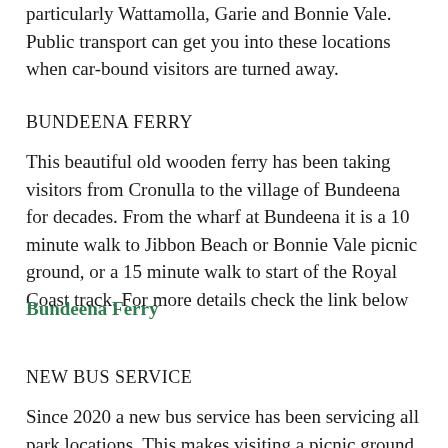particularly Wattamolla, Garie and Bonnie Vale. Public transport can get you into these locations when car-bound visitors are turned away.
BUNDEENA FERRY
This beautiful old wooden ferry has been taking visitors from Cronulla to the village of Bundeena for decades. From the wharf at Bundeena it is a 10 minute walk to Jibbon Beach or Bonnie Vale picnic ground, or a 15 minute walk to start of the Royal Coast track. For more details check the link below
Bundeena Ferry
NEW BUS SERVICE
Since 2020 a new bus service has been servicing all park locations.  This makes visiting a picnic ground or planning a